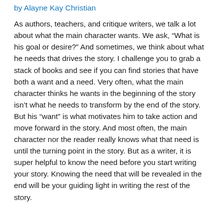by Alayne Kay Christian
As authors, teachers, and critique writers, we talk a lot about what the main character wants. We ask, “What is his goal or desire?” And sometimes, we think about what he needs that drives the story. I challenge you to grab a stack of books and see if you can find stories that have both a want and a need. Very often, what the main character thinks he wants in the beginning of the story isn’t what he needs to transform by the end of the story. But his “want” is what motivates him to take action and move forward in the story. And most often, the main character nor the reader really knows what that need is until the turning point in the story. But as a writer, it is super helpful to know the need before you start writing your story. Knowing the need that will be revealed in the end will be your guiding light in writing the rest of the story.